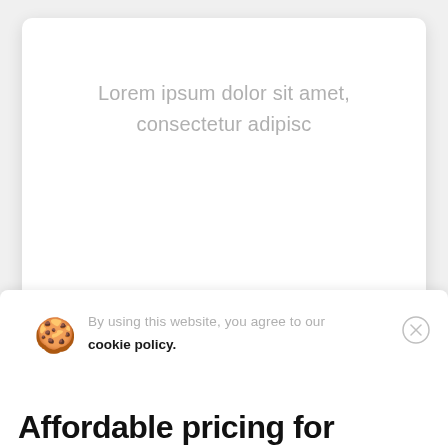[Figure (screenshot): White card with placeholder lorem ipsum text centered, with drop shadow on light gray background]
Lorem ipsum dolor sit amet, consectetur adipisc
[Figure (screenshot): Cookie consent banner at bottom with cookie emoji icon, consent text, and close button]
By using this website, you agree to our cookie policy.
Affordable pricing for